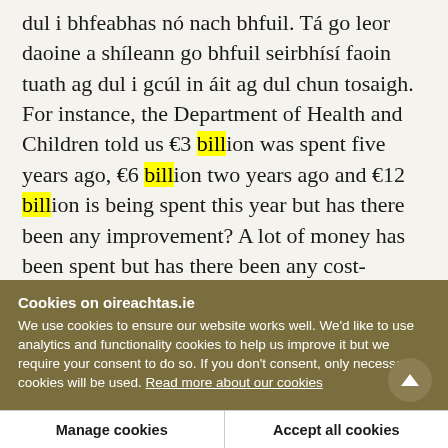dul i bhfeabhas nó nach bhfuil. Tá go leor daoine a shíleann go bhfuil seirbhísí faoin tuath ag dul i gcúl in áit ag dul chun tosaigh. For instance, the Department of Health and Children told us €3 billion was spent five years ago, €6 billion two years ago and €12 billion is being spent this year but has there been any improvement? A lot of money has been spent but has there been any cost-benefit analysis? Are we getting a return on the money we have spent because many people believe services in rural areas are not improving?
Cookies on oireachtas.ie
We use cookies to ensure our website works well. We'd like to use analytics and functionality cookies to help us improve it but we require your consent to do so. If you don't consent, only necessary cookies will be used. Read more about our cookies
Manage cookies
Accept all cookies